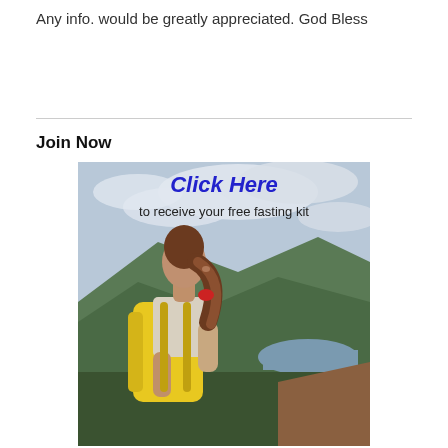Any info. would be greatly appreciated. God Bless
Join Now
[Figure (photo): Woman with ponytail and yellow backpack viewed from behind, standing on a mountain peak looking out over a landscape with a river valley and cloudy sky. Text overlay reads 'Click Here to receive your free fasting kit'.]